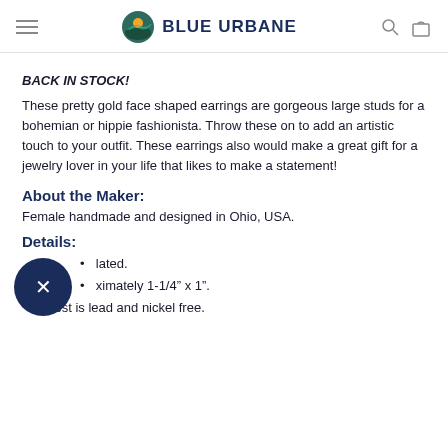BLUE URBANE
BACK IN STOCK!
These pretty gold face shaped earrings are gorgeous large studs for a bohemian or hippie fashionista. Throw these on to add an artistic touch to your outfit. These earrings also would make a great gift for a jewelry lover in your life that likes to make a statement!
About the Maker:
Female handmade and designed in Ohio, USA.
Details:
Gold plated.
Approximately 1-1/4” x 1”.
Post is lead and nickel free.